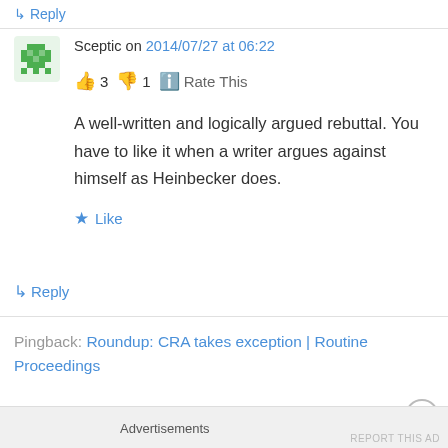↵ Reply
Sceptic on 2014/07/27 at 06:22
👍 3 👎 1 ℹ Rate This
A well-written and logically argued rebuttal. You have to like it when a writer argues against himself as Heinbecker does.
★ Like
↵ Reply
Pingback: Roundup: CRA takes exception | Routine Proceedings
Advertisements